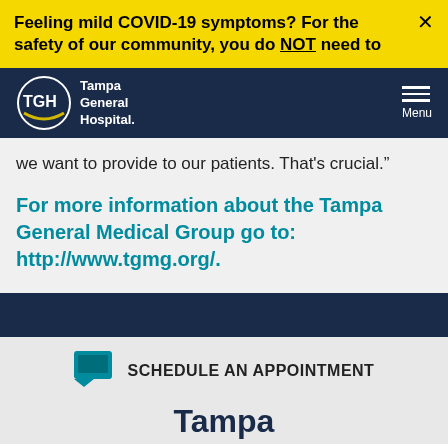Feeling mild COVID-19 symptoms? For the safety of our community, you do NOT need to
[Figure (logo): Tampa General Hospital logo with TGH letters in circle and hospital name in white text on navy background]
we want to provide to our patients. That's crucial.”
For more information about the Tampa General Medical Group go to: http://www.tgmg.org/.
SCHEDULE AN APPOINTMENT
Tampa